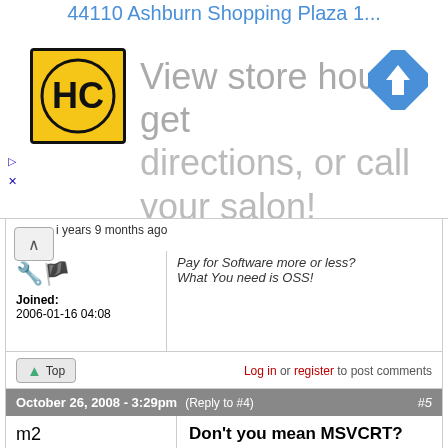[Figure (screenshot): Advertisement banner showing HC store logo, 'View store hours, get directions, or call your salon!' text, and navigation icon]
years 9 months ago
Joined: 2006-01-16 04:08
What You need is OSS!
Log in or register to post comments
October 26, 2008 - 3:29pm (Reply to #4) #5
m2
Offline
Last seen: 11 years 6 months ago
Joined: 2006-12-12 12:00
Don't you mean MSVCRT?
Don't you mean MSVCRT?
"Those people who think they know everything are a great annoyance to those of us who do." Asimov
Log in or register to post comments